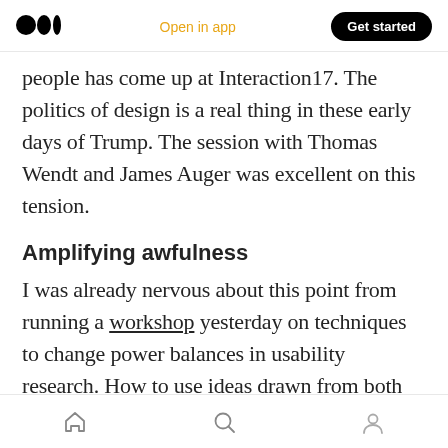Medium logo | Open in app | Get started
people has come up at Interaction17. The politics of design is a real thing in these early days of Trump. The session with Thomas Wendt and James Auger was excellent on this tension.
Amplifying awfulness
I was already nervous about this point from running a workshop yesterday on techniques to change power balances in usability research. How to use ideas drawn from both disability rights campaigning and indigenous research to empower participants.
Home | Search | Profile